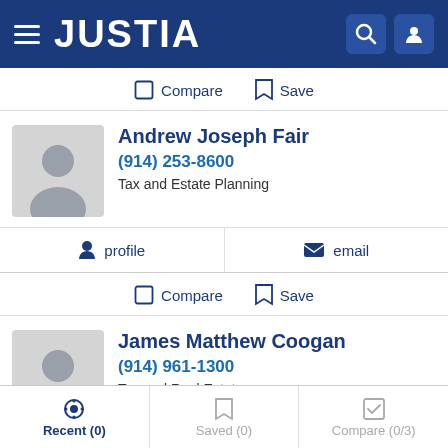JUSTIA
Compare  Save
Andrew Joseph Fair
(914) 253-8600
Tax and Estate Planning
profile   email
Compare  Save
James Matthew Coogan
(914) 961-1300
Tax and Real Estate
Recent (0)   Saved (0)   Compare (0/3)